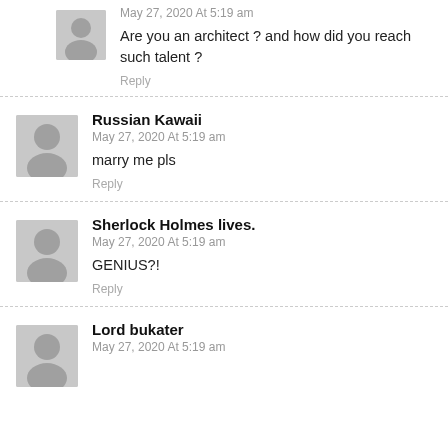May 27, 2020 At 5:19 am
Are you an architect ? and how did you reach such talent ?
Reply
Russian Kawaii
May 27, 2020 At 5:19 am
marry me pls
Reply
Sherlock Holmes lives.
May 27, 2020 At 5:19 am
GENIUS?!
Reply
Lord bukater
May 27, 2020 At 5:19 am